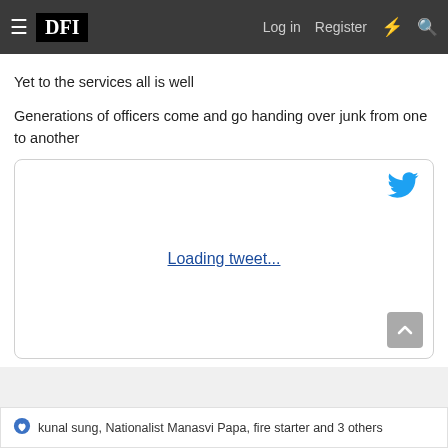DFI  Log in  Register
Yet to the services all is well
Generations of officers come and go handing over junk from one to another
[Figure (screenshot): Twitter/X embedded tweet widget showing a loading state with blue Twitter bird icon in top-right and 'Loading tweet...' link in center]
kunal sung, Nationalist Manasvi Papa, fire starter and 3 others